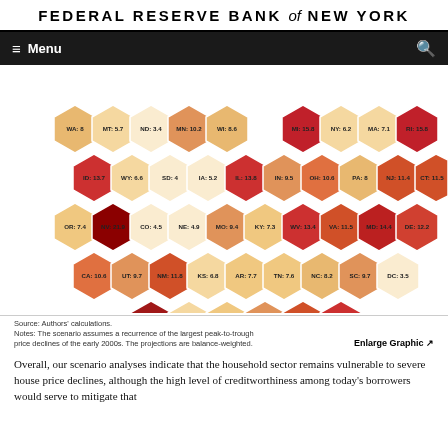FEDERAL RESERVE BANK of NEW YORK
[Figure (infographic): Hexagonal cartogram map of US states showing projected household financial vulnerability values. Each hexagon represents a state labeled with abbreviation and numeric value. Color ranges from cream/light (low values) to dark red (high values). Values: WA:8, MT:5.7, ND:3.4, MN:10.2, WI:8.6, MI:15.8, NY:6.2, MA:7.1, RI:15.8, ID:13.7, WY:6.6, SD:4, IA:5.2, IL:13.8, IN:9.5, OH:10.6, PA:8, NJ:11.4, CT:11.5, OR:7.4, NV:21.9, CO:4.5, NE:4.9, MO:9.4, KY:7.3, WV:13.4, VA:11.5, MD:14.4, DE:12.2, CA:10.6, UT:9.7, NM:11.8, KS:6.8, AR:7.7, TN:7.6, NC:8.2, SC:9.7, DC:3.5, AZ:18.7, OK:6.5, LA:7.6, MS:9.6, AL:11.4, GA:12.9, HI:5.1, TX:6, FL:19.4]
Source: Authors' calculations.
Notes: The scenario assumes a recurrence of the largest peak-to-trough price declines of the early 2000s. The projections are balance-weighted.
Overall, our scenario analyses indicate that the household sector remains vulnerable to severe house price declines, although the high level of creditworthiness among today's borrowers would serve to mitigate that